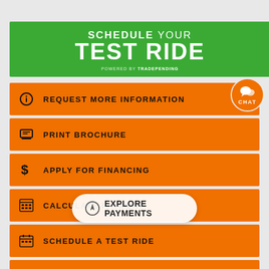SCHEDULE YOUR TEST RIDE
POWERED BY TRADEPENDING
REQUEST MORE INFORMATION
PRINT BROCHURE
APPLY FOR FINANCING
CALCULATE PAYMENT
SCHEDULE A TEST RIDE
COMPARE MODELS
INSURANCE QUOTE
Explore Payments